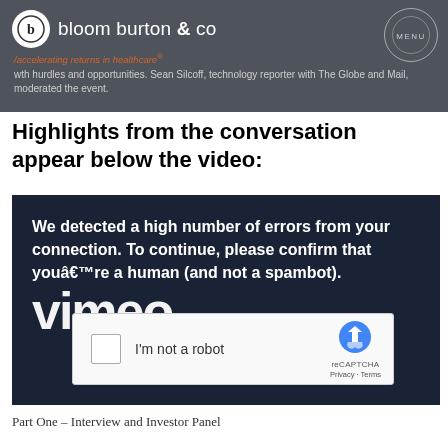wth hurdles and opportunities. Sean Silcoff, technology reporter with The Globe and Mail, moderated the event. bloom burton & co /accelerating returns in healthcare® MENU
Highlights from the conversation appear below the video:
[Figure (screenshot): Vimeo video embed showing a reCAPTCHA bot-detection overlay on a dark navy background. Text reads: 'We detected a high number of errors from your connection. To continue, please confirm that youâre a human (and not a spambot).' with an 'I'm not a robot' reCAPTCHA checkbox widget below, and the Vimeo logo at the bottom.]
Part One – Interview and Investor Panel